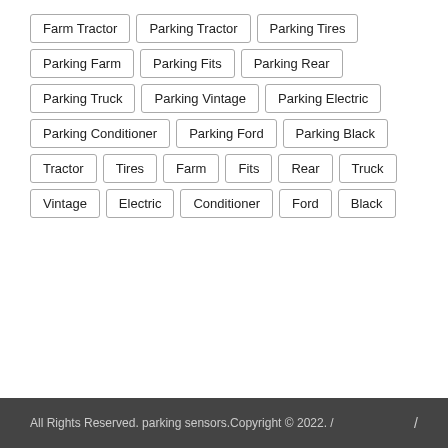Farm Tractor
Parking Tractor
Parking Tires
Parking Farm
Parking Fits
Parking Rear
Parking Truck
Parking Vintage
Parking Electric
Parking Conditioner
Parking Ford
Parking Black
Tractor
Tires
Farm
Fits
Rear
Truck
Vintage
Electric
Conditioner
Ford
Black
All Rights Reserved. parking sensors.Copyright © 2022. /    /